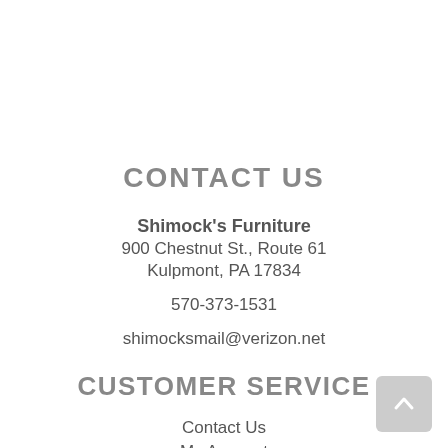CONTACT US
Shimock's Furniture
900 Chestnut St., Route 61
Kulpmont, PA 17834
570-373-1531
shimocksmail@verizon.net
CUSTOMER SERVICE
Contact Us
My Account
Financing
FAQ
Privacy Policy